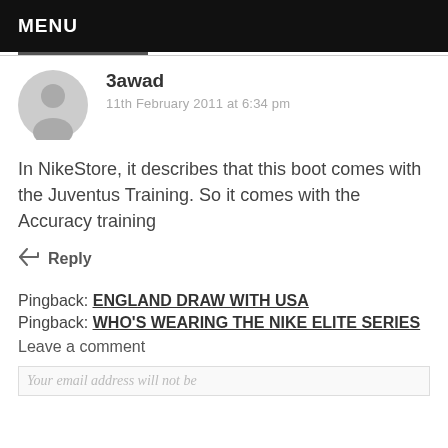MENU
3awad
11th February 2011 at 6:34 pm
In NikeStore, it describes that this boot comes with the Juventus Training. So it comes with the Accuracy training
↩ Reply
Pingback: ENGLAND DRAW WITH USA
Pingback: WHO'S WEARING THE NIKE ELITE SERIES
Leave a comment
Your email address will not be